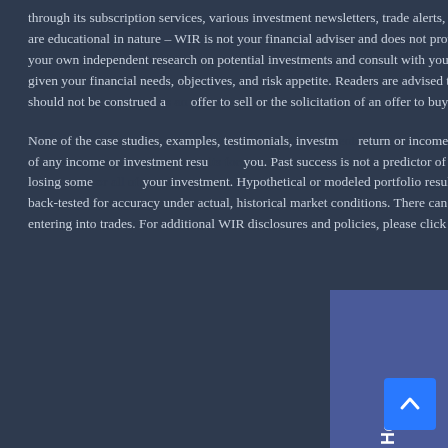through its subscription services, various investment newsletters, trade alerts, and other investment-related educational materials. Those publications are educational in nature – WIR is not your financial adviser and does not provide any individualized investment advice to you. You should perform your own independent research on potential investments and consult with your financial adviser to determine whether an investment is appropriate given your financial needs, objectives, and risk appetite. Readers are advised that this publication is issued for informational purposes and should not be construed as an offer to sell or the solicitation of an offer to buy any securities.
None of the case studies, examples, testimonials, investment return or income claims made on WIR's website or through its services is a guarantee of any income or investment results for you. Past success is not a predictor of future success. Trading securities involves risks, including the risk of losing some or all of your investment. Hypothetical or modeled portfolio results do not represent the results of an actually invested portfolio and are back-tested for accuracy under actual, historical market conditions. There can be tax consequences to trading; consult you're your tax adviser before entering into trades. For additional WIR disclosures and policies, please click the links below.